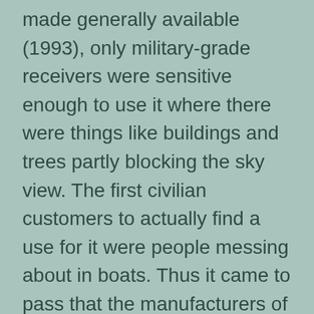made generally available (1993), only military-grade receivers were sensitive enough to use it where there were things like buildings and trees partly blocking the sky view. The first civilian customers to actually find a use for it were people messing about in boats. Thus it came to pass that the manufacturers of marine navigation systems were the first civilians to grapple with the question of how a GPS receiver should report TPV information over a wire to a navigational computer.
Our first layer of suck begins with the National